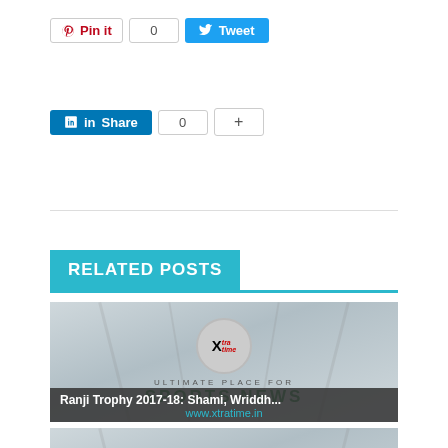[Figure (screenshot): Social sharing buttons row: Pinterest Pin it button with count 0, and Twitter Tweet button]
[Figure (screenshot): LinkedIn Share button with count 0 and a plus (+) button]
RELATED POSTS
[Figure (screenshot): Related post card showing Xtratime logo, ULTIMATE PLACE FOR SPORTS NEWS graphic, with caption: Ranji Trophy 2017-18: Shami, Wriddh... and www.xtratime.in]
[Figure (screenshot): Second related post card showing Xtratime logo placeholder (partially visible)]